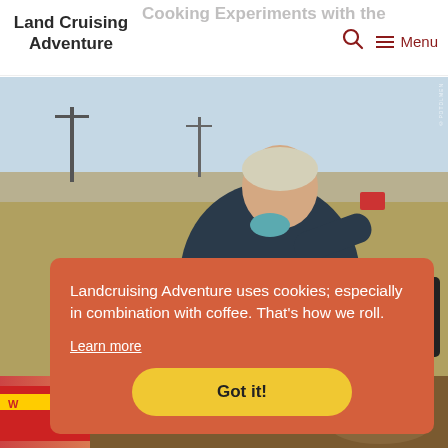Land Cruising Adventure — Cooking Experiments with the [solar] Oven
[Figure (photo): Woman with short blonde hair sitting cross-legged outdoors on arid roadside, leaning over something, wearing dark shirt and khaki pants. Open flat landscape with telephone poles in background.]
Landcruising Adventure uses cookies; especially in combination with coffee. That's how we roll.
Learn more
Got it!
[Figure (photo): Partial photo at bottom showing what appears to be food or cooking-related content with red/orange/brown tones.]